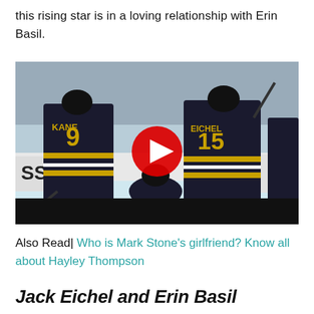this rising star is in a loving relationship with Erin Basil.
[Figure (screenshot): Hockey players in dark jerseys with numbers 9 (KANE) and 15 (EICHEL) on ice rink, with a YouTube play button overlay. Background shows arena boards with text 'SS', 'WAVE', 'orporati'. Black bar at bottom.]
Also Read| Who is Mark Stone's girlfriend? Know all about Hayley Thompson
Jack Eichel and Erin Basil